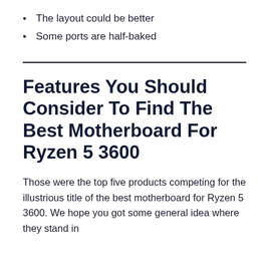The layout could be better
Some ports are half-baked
Features You Should Consider To Find The Best Motherboard For Ryzen 5 3600
Those were the top five products competing for the illustrious title of the best motherboard for Ryzen 5 3600. We hope you got some general idea where they stand in